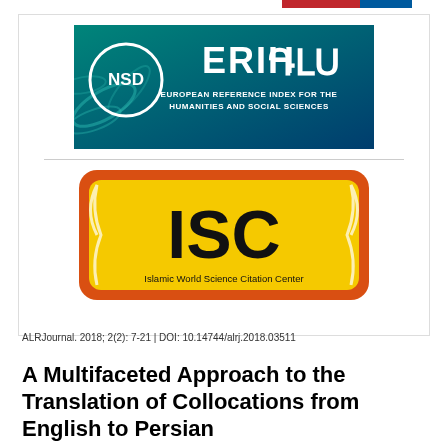[Figure (logo): ERIH PLUS (European Reference Index for the Humanities and Social Sciences) logo with NSD circle logo on teal/dark blue background]
[Figure (logo): ISC - Islamic World Science Citation Center logo, yellow badge with red/orange border, black text]
ALRJournal. 2018; 2(2): 7-21 | DOI: 10.14744/alrj.2018.03511
A Multifaceted Approach to the Translation of Collocations from English to Persian